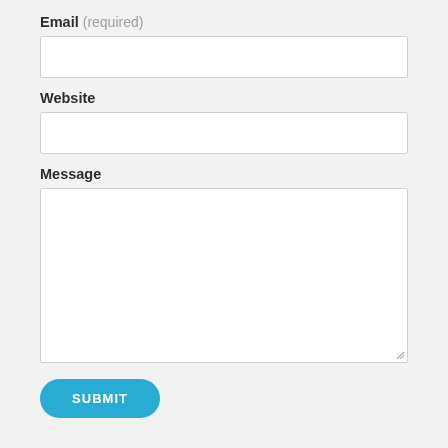Email (required)
Website
Message
SUBMIT